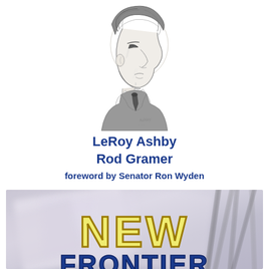[Figure (illustration): Pencil sketch portrait of a man in profile view, facing right, wearing a suit and tie. Monochrome charcoal/pencil drawing style with a small signature at the bottom.]
LeRoy Ashby
Rod Gramer
foreword by Senator Ron Wyden
[Figure (photo): Background photo showing blurred newspapers and pencils/pens in soft blue-gray tones, with large bold text 'NEW' in yellow with dark outline, and partial text cut off at bottom in blue reading what appears to be part of a book title.]